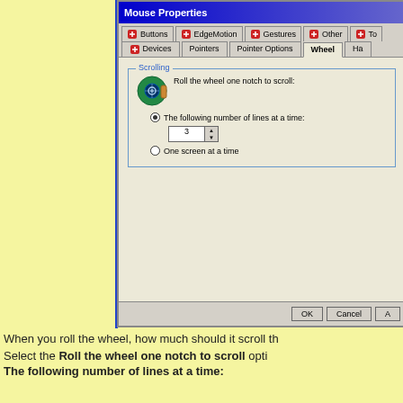[Figure (screenshot): Windows Mouse Properties dialog box showing the Wheel tab with Scrolling options. The dialog has tabs: Buttons, EdgeMotion, Gestures, Other, To... (top row) and Devices, Pointers, Pointer Options, Wheel (active), Ha... (second row). The Wheel tab shows a Scrolling group box with 'Roll the wheel one notch to scroll:' label, a mouse wheel icon, radio button 'The following number of lines at a time:' selected with value 3 in a spin box, and 'One screen at a time' radio button unselected. Bottom has OK, Cancel buttons.]
When you roll the wheel, how much should it scroll th
Select the Roll the wheel one notch to scroll opti... The following number of lines at a time: